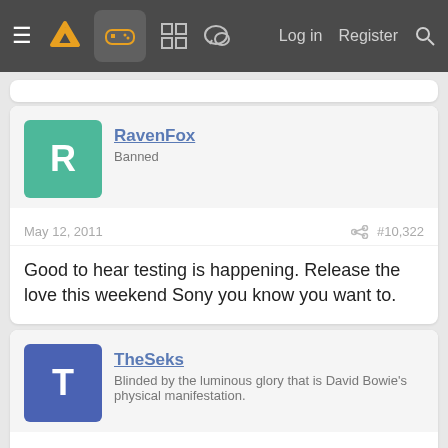Navigation bar with hamburger menu, logo, gamepad icon, grid icon, chat icon, Log in, Register, Search
RavenFox
Banned
May 12, 2011  #10,322
Good to hear testing is happening. Release the love this weekend Sony you know you want to.
TheSeks
Blinded by the luminous glory that is David Bowie's physical manifestation.
May 12, 2011  #10,323
Hanmik said:
the PLOT thickens